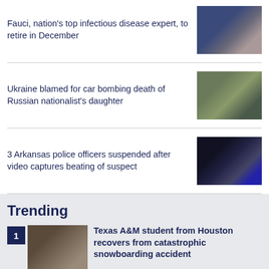Fauci, nation's top infectious disease expert, to retire in December
[Figure (photo): Photo of Fauci at hearing, wearing mask, sitting at table]
Ukraine blamed for car bombing death of Russian nationalist's daughter
[Figure (photo): Photo of soldiers crouching on pavement]
3 Arkansas police officers suspended after video captures beating of suspect
[Figure (photo): Photo of police car with blue flashing lights]
Trending
1 Texas A&M student from Houston recovers from catastrophic snowboarding accident
2 Houston woman viciously attacked in